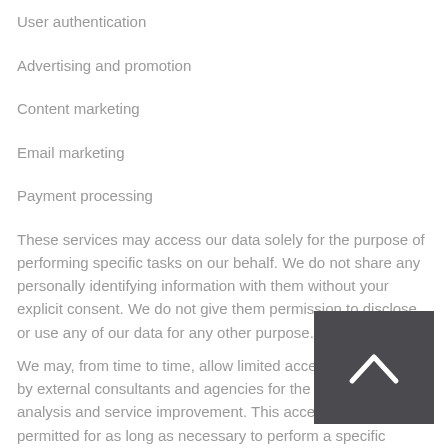User authentication
Advertising and promotion
Content marketing
Email marketing
Payment processing
These services may access our data solely for the purpose of performing specific tasks on our behalf. We do not share any personally identifying information with them without your explicit consent. We do not give them permission to disclose or use any of our data for any other purpose.
We may, from time to time, allow limited access to our data by external consultants and agencies for the purpose of analysis and service improvement. This access is only permitted for as long as necessary to perform a specific function. We only